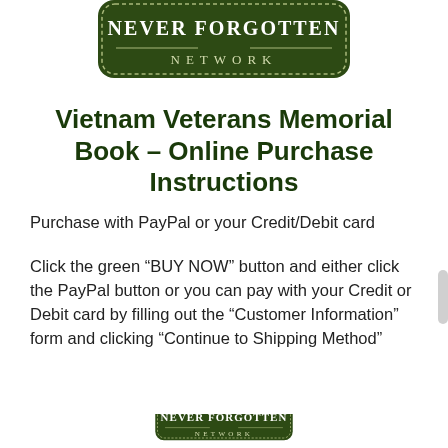[Figure (logo): Never Forgotten Network logo — dark olive/green rounded rectangle badge with white serif text 'NEVER FORGOTTEN' and 'NETWORK']
Vietnam Veterans Memorial Book – Online Purchase Instructions
Purchase with PayPal or your Credit/Debit card
Click the green “BUY NOW” button and either click the PayPal button or you can pay with your Credit or Debit card by filling out the “Customer Information” form and clicking “Continue to Shipping Method”
[Figure (logo): Partial Never Forgotten Network logo visible at bottom of page]